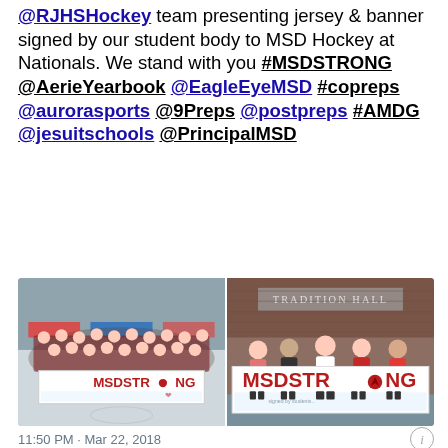@RJHSHockey team presenting jersey & banner signed by our student body to MSD Hockey at Nationals. We stand with you #MSDSTRONG @AerieYearbook @EagleEyeMSD #copreps @aurorasports @9Preps @postpreps #AMDG @jesuitschools @PrincipalMSD
[Figure (photo): Two photos side by side: left shows a hockey team on an ice rink holding a white MSDSTRONG banner with signatures; right shows students in front of a brick wall labeled 'Tradition Hall' holding a large MSDSTRONG banner with signatures.]
11:50 PM · Mar 22, 2018